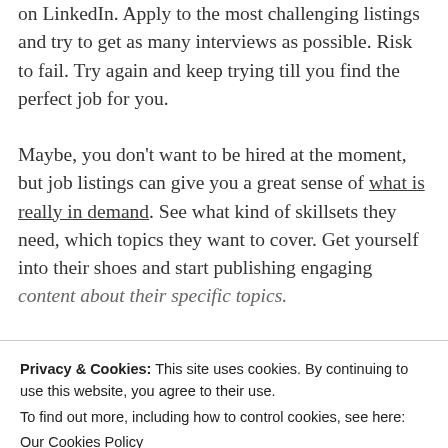on LinkedIn. Apply to the most challenging listings and try to get as many interviews as possible. Risk to fail. Try again and keep trying till you find the perfect job for you.
Maybe, you don't want to be hired at the moment, but job listings can give you a great sense of what is really in demand. See what kind of skillsets they need, which topics they want to cover. Get yourself into their shoes and start publishing engaging content about their specific topics.
Privacy & Cookies: This site uses cookies. By continuing to use this website, you agree to their use.
To find out more, including how to control cookies, see here: Our Cookies Policy
[Close and accept]
[Figure (screenshot): Video preview bar with teal background showing 'Find out How to Find Copywriting Jobs on Lin...' with PREVIEW badge, dots menu, and play button]